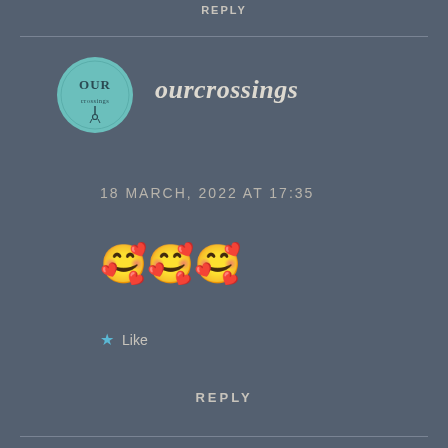REPLY
[Figure (logo): Circular teal logo with text OUR and ourcrossings written inside]
ourcrossings
18 MARCH, 2022 AT 17:35
🥰🥰🥰
★ Like
REPLY